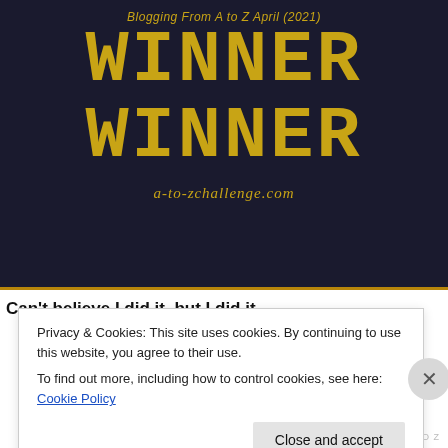[Figure (illustration): Blogging From A to Z April (2021) WINNER WINNER badge on dark navy background with gold pixelated text and URL a-to-zchallenge.com]
Can't believe I did it, but I did it.
Privacy & Cookies: This site uses cookies. By continuing to use this website, you agree to their use.
To find out more, including how to control cookies, see here: Cookie Policy